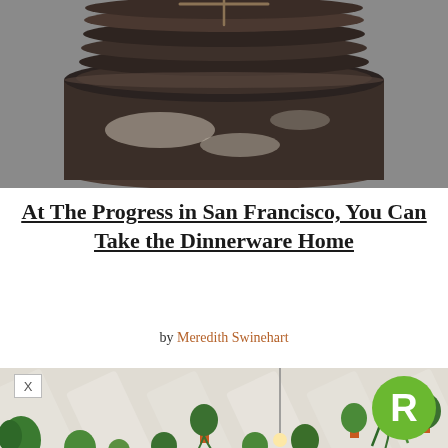[Figure (photo): Close-up photo of stacked dark rustic ceramic plates/bowls tied with twine, on a grey background]
At The Progress in San Francisco, You Can Take the Dinnerware Home
by Meredith Swinehart
[Figure (photo): Interior photo of a restaurant with white wooden beam ceiling, hanging plants, potted plants on shelves, warm Edison bulbs, and white wainscoting walls]